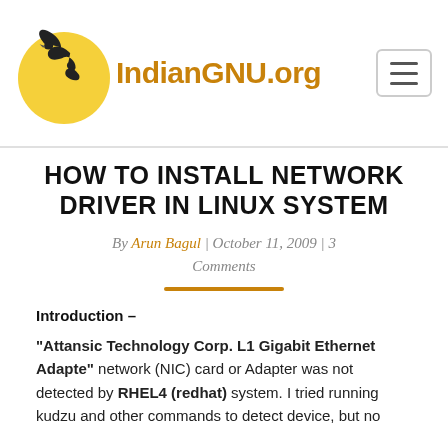IndianGNU.org
HOW TO INSTALL NETWORK DRIVER IN LINUX SYSTEM
By Arun Bagul | October 11, 2009 | 3 Comments
Introduction –
"Attansic Technology Corp. L1 Gigabit Ethernet Adapte" network (NIC) card or Adapter was not detected by RHEL4 (redhat) system. I tried running kudzu and other commands to detect device, but no